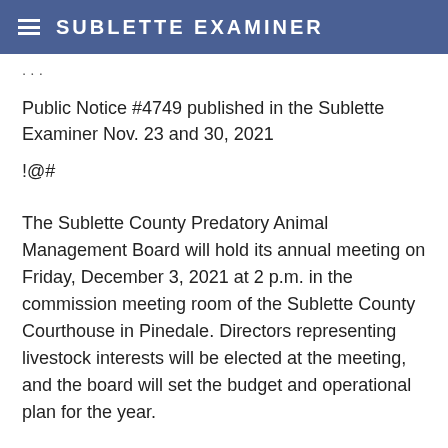SUBLETTE EXAMINER
Public Notice #4749 published in the Sublette Examiner Nov. 23 and 30, 2021
!@#
The Sublette County Predatory Animal Management Board will hold its annual meeting on Friday, December 3, 2021 at 2 p.m. in the commission meeting room of the Sublette County Courthouse in Pinedale. Directors representing livestock interests will be elected at the meeting, and the board will set the budget and operational plan for the year.